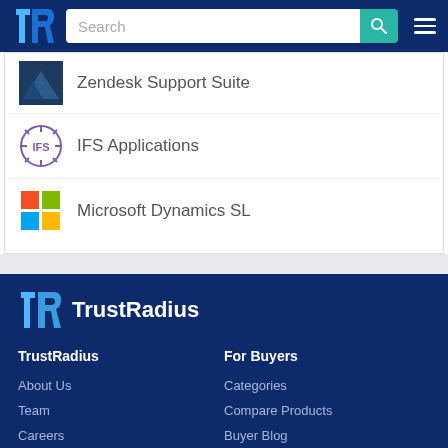TrustRadius navigation bar with search
Zendesk Support Suite
IFS Applications
Microsoft Dynamics SL
[Figure (logo): TrustRadius logo with TR icon and text]
TrustRadius
About Us
Team
Careers
News
For Buyers
Categories
Compare Products
Buyer Blog